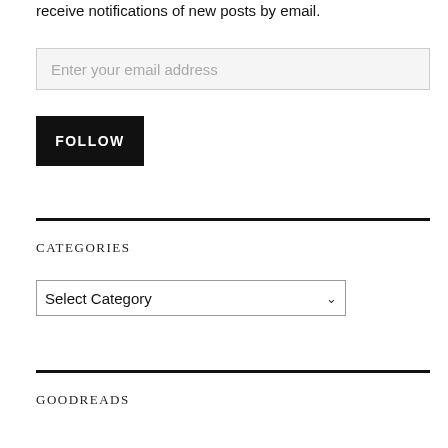receive notifications of new posts by email.
Enter your email address
FOLLOW
CATEGORIES
Select Category
GOODREADS